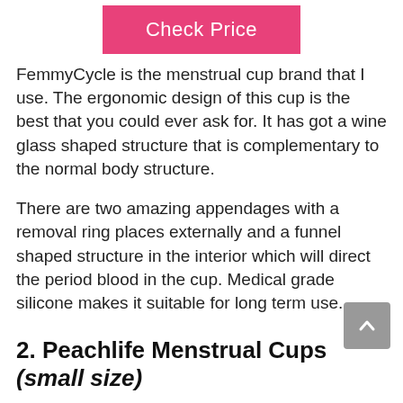[Figure (other): Pink 'Check Price' button]
FemmyCycle is the menstrual cup brand that I use. The ergonomic design of this cup is the best that you could ever ask for. It has got a wine glass shaped structure that is complementary to the normal body structure.
There are two amazing appendages with a removal ring places externally and a funnel shaped structure in the interior which will direct the period blood in the cup. Medical grade silicone makes it suitable for long term use.
2. Peachlife Menstrual Cups (small size)